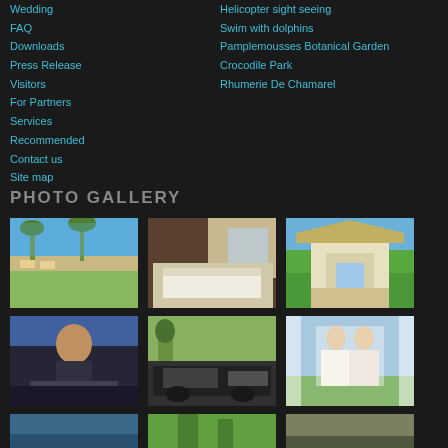Wedding
FAQ
Downloads
Press Release
Visitors
For Partners
Services
Recommended
Contact us
Site map
Helicopter sight seeing
Swim with dolphins
Pamplemousses Botanical Garden
Crocodile Park
Rhumerie De Chamarel
PHOTO GALLERY
[Figure (photo): Beach scene with palm trees and lounge chairs by the ocean]
[Figure (photo): Hotel room interior with bed and large window]
[Figure (photo): Luxury villa exterior with tropical garden]
[Figure (photo): Man standing in front of artistic background]
[Figure (photo): Car parked near tropical trees with staff]
[Figure (photo): Wedding couple in white attire with palm trees]
[Figure (photo): Partial bottom row photo 1]
[Figure (photo): Partial bottom row photo 2]
[Figure (photo): Partial bottom row photo 3]